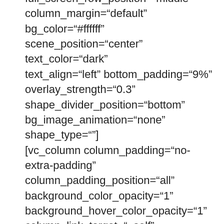full_screen_row_position="middle" column_margin="default" bg_color="#ffffff" scene_position="center" text_color="dark" text_align="left" bottom_padding="9%" overlay_strength="0.3" shape_divider_position="bottom" bg_image_animation="none" shape_type=""] [vc_column column_padding="no-extra-padding" column_padding_position="all" background_color_opacity="1" background_hover_color_opacity="1" column_link_target="_self" column_shadow="none" column_border_radius="none" width="1/1" tablet_width_inherit="default" tablet_text_alignment="default"